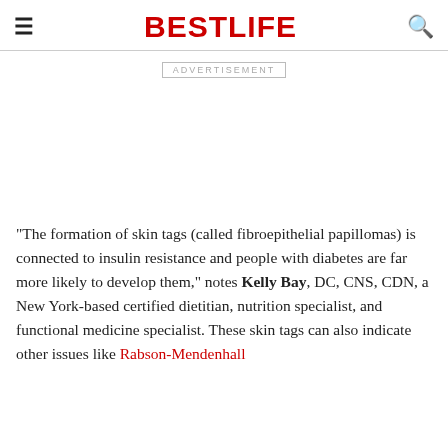BESTLIFE
ADVERTISEMENT
"The formation of skin tags (called fibroepithelial papillomas) is connected to insulin resistance and people with diabetes are far more likely to develop them," notes Kelly Bay, DC, CNS, CDN, a New York-based certified dietitian, nutrition specialist, and functional medicine specialist. These skin tags can also indicate other issues like Rabson-Mendenhall